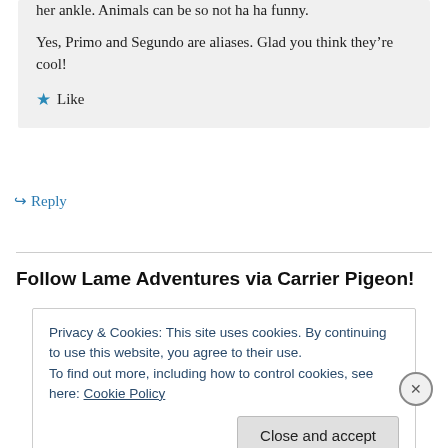her ankle. Animals can be so not ha ha funny.
Yes, Primo and Segundo are aliases. Glad you think they're cool!
★ Like
↳ Reply
Follow Lame Adventures via Carrier Pigeon!
Privacy & Cookies: This site uses cookies. By continuing to use this website, you agree to their use.
To find out more, including how to control cookies, see here: Cookie Policy
Close and accept